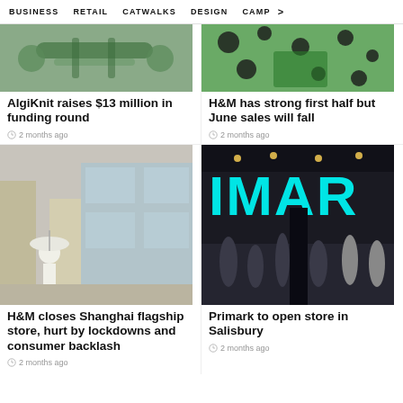BUSINESS   RETAIL   CATWALKS   DESIGN   CAMP  >
[Figure (photo): Close-up of green industrial/textile machinery parts]
AlgiKnit raises $13 million in funding round
2 months ago
[Figure (photo): Close-up of dalmatian-print fabric with green butterfly or design elements]
H&M has strong first half but June sales will fall
2 months ago
[Figure (photo): H&M Shanghai flagship store exterior with person in mask outside during rain]
H&M closes Shanghai flagship store, hurt by lockdowns and consumer backlash
2 months ago
[Figure (photo): Primark store interior with large cyan IMAR signage and shoppers]
Primark to open store in Salisbury
2 months ago